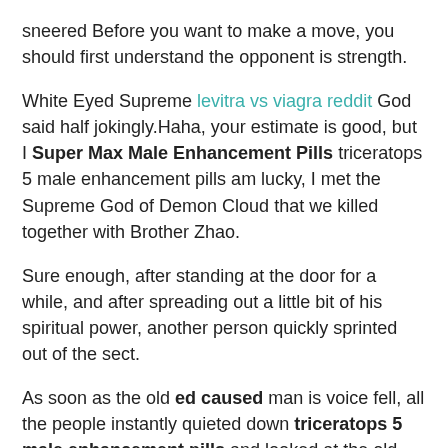sneered Before you want to make a move, you should first understand the opponent is strength.
White Eyed Supreme levitra vs viagra reddit God said half jokingly.Haha, your estimate is good, but I Super Max Male Enhancement Pills triceratops 5 male enhancement pills am lucky, I met the Supreme God of Demon Cloud that we killed together with Brother Zhao.
Sure enough, after standing at the door for a while, and after spreading out a little bit of his spiritual power, another person quickly sprinted out of the sect.
As soon as the old ed caused man is voice fell, all the people instantly quieted down triceratops 5 male enhancement pills and looked at the old man again.
Feature Article